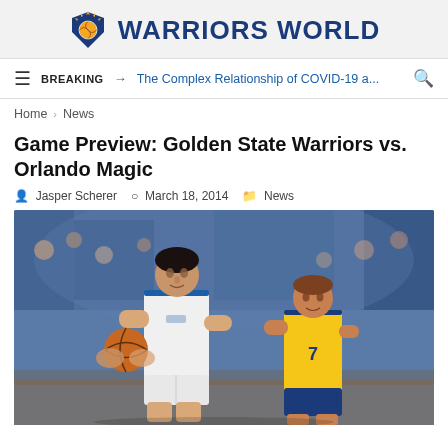WARRIORS WORLD
BREAKING → The Complex Relationship of COVID-19 a...
Home > News
Game Preview: Golden State Warriors vs. Orlando Magic
Jasper Scherer  March 18, 2014  News
[Figure (photo): Basketball game action photo showing an Orlando Magic player (tall, white uniform) holding the ball and being guarded by a Golden State Warriors player (yellow and blue uniform), with a crowd of fans in blue in the background.]